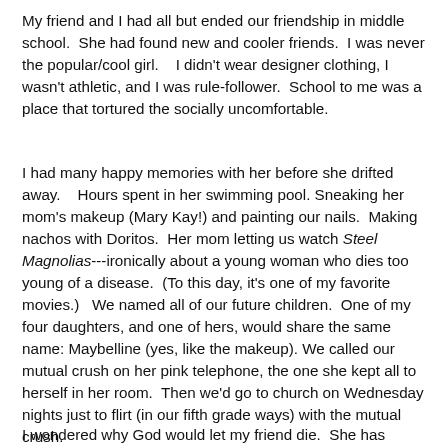My friend and I had all but ended our friendship in middle school.  She had found new and cooler friends.  I was never the popular/cool girl.    I didn't wear designer clothing, I wasn't athletic, and I was rule-follower.  School to me was a place that tortured the socially uncomfortable.
I had many happy memories with her before she drifted away.    Hours spent in her swimming pool. Sneaking her mom's makeup (Mary Kay!) and painting our nails.  Making nachos with Doritos.  Her mom letting us watch Steel Magnolias---ironically about a young woman who dies too young of a disease.  (To this day, it's one of my favorite movies.)   We named all of our future children.  One of my four daughters, and one of hers, would share the same name: Maybelline (yes, like the makeup). We called our mutual crush on her pink telephone, the one she kept all to herself in her room.  Then we'd go to church on Wednesday nights just to flirt (in our fifth grade ways) with the mutual crush.
I wondered why God would let my friend die.  She has